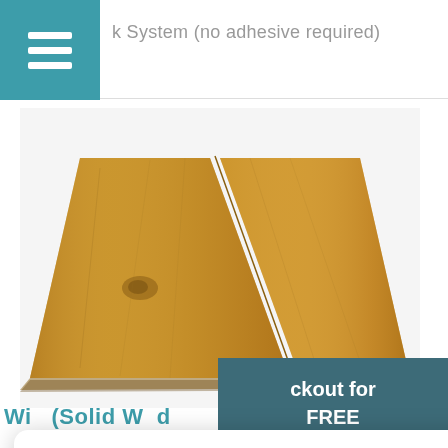k System (no adhesive required)
[Figure (photo): Oak solid wood flooring planks shown from above at an angle, two boards side by side, natural wood grain visible]
... you sell at
We use cookie to improve your experience on our site. By using our site you consent cookies. Learn more
Allow Cookies
Decline
ght an ood, this ome. Oak is for solid
ckout for FREE